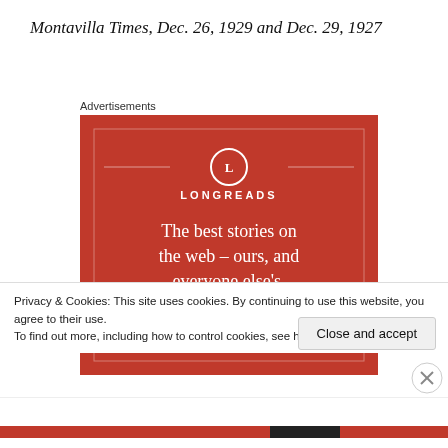Montavilla Times, Dec. 26, 1929 and Dec. 29, 1927
Advertisements
[Figure (illustration): Longreads advertisement banner on red background with logo circle containing 'L', brand name LONGREADS, tagline 'The best stories on the web – ours, and everyone else's.' and a black 'Start reading' button]
Privacy & Cookies: This site uses cookies. By continuing to use this website, you agree to their use.
To find out more, including how to control cookies, see here: Cookie Policy
Close and accept